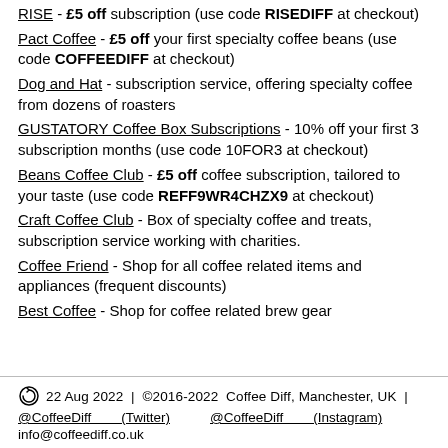RISE - £5 off subscription (use code RISEDIFF at checkout)
Pact Coffee - £5 off your first specialty coffee beans (use code COFFEEDIFF at checkout)
Dog and Hat - subscription service, offering specialty coffee from dozens of roasters
GUSTATORY Coffee Box Subscriptions - 10% off your first 3 subscription months (use code 10FOR3 at checkout)
Beans Coffee Club - £5 off coffee subscription, tailored to your taste (use code REFF9WR4CHZX9 at checkout)
Craft Coffee Club - Box of specialty coffee and treats, subscription service working with charities.
Coffee Friend - Shop for all coffee related items and appliances (frequent discounts)
Best Coffee - Shop for coffee related brew gear
22 Aug 2022 | ©2016-2022 Coffee Diff, Manchester, UK | @CoffeeDiff (Twitter) @CoffeeDiff (Instagram) info@coffeediff.co.uk